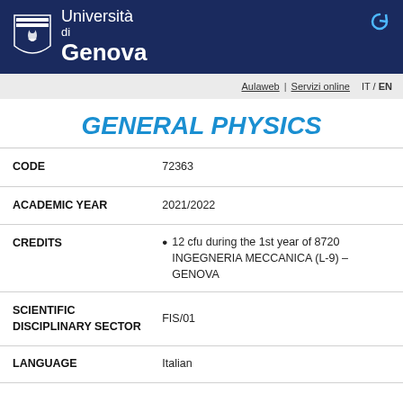[Figure (logo): Università di Genova logo with shield and text]
Aulaweb | Servizi online   IT / EN
GENERAL PHYSICS
| Field | Value |
| --- | --- |
| CODE | 72363 |
| ACADEMIC YEAR | 2021/2022 |
| CREDITS | 12 cfu during the 1st year of 8720 INGEGNERIA MECCANICA (L-9) – GENOVA |
| SCIENTIFIC DISCIPLINARY SECTOR | FIS/01 |
| LANGUAGE | Italian |